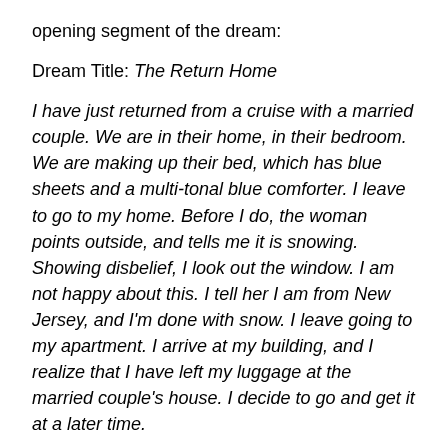opening segment of the dream:
Dream Title: The Return Home
I have just returned from a cruise with a married couple. We are in their home, in their bedroom. We are making up their bed, which has blue sheets and a multi-tonal blue comforter. I leave to go to my home. Before I do, the woman points outside, and tells me it is snowing. Showing disbelief, I look out the window. I am not happy about this. I tell her I am from New Jersey, and I'm done with snow. I leave going to my apartment. I arrive at my building, and I realize that I have left my luggage at the married couple's house. I decide to go and get it at a later time.
When looking at a dream, I first start with its location. The interpretation of the location can determine the dream's